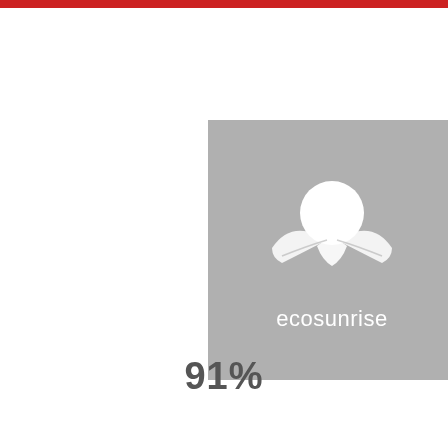[Figure (logo): Ecosunrise logo on grey background with sun and leaf/wing motif, white graphic and white text 'ecosunrise']
91%